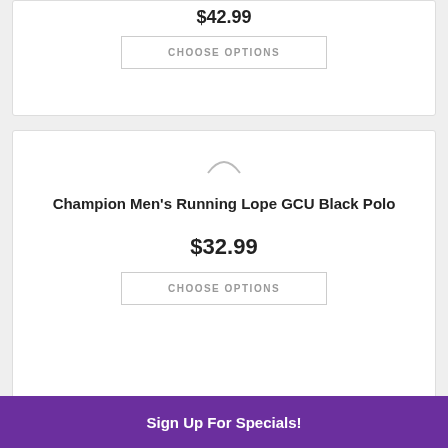$42.99
CHOOSE OPTIONS
[Figure (illustration): Product image placeholder - circular arc/spinner icon]
Champion Men's Running Lope GCU Black Polo
$32.99
CHOOSE OPTIONS
[Figure (illustration): Product image placeholder - circular arc/spinner icon]
Columbia Men's Gray GCU Alumni Polo
Sign Up For Specials!